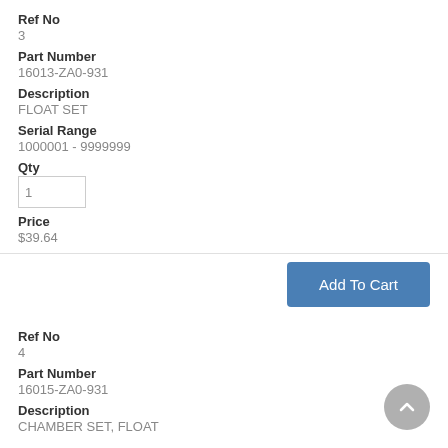Ref No
3
Part Number
16013-ZA0-931
Description
FLOAT SET
Serial Range
1000001 - 9999999
Qty
1
Price
$39.64
Add To Cart
Ref No
4
Part Number
16015-ZA0-931
Description
CHAMBER SET, FLOAT